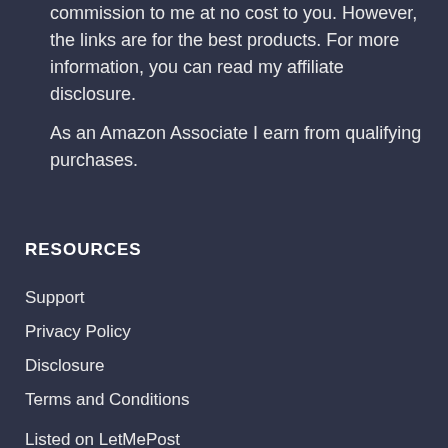commission to me at no cost to you. However, the links are for the best products. For more information, you can read my affiliate disclosure.
As an Amazon Associate I earn from qualifying purchases.
RESOURCES
Support
Privacy Policy
Disclosure
Terms and Conditions
Listed on LetMePost